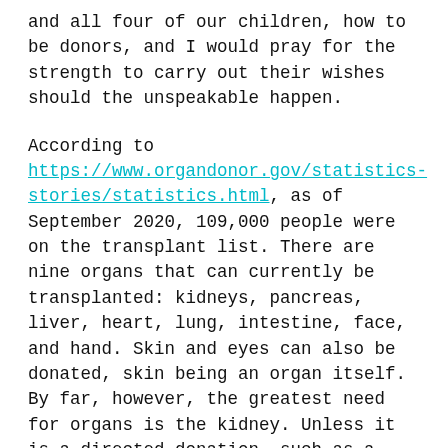and all four of our children, how to be donors, and I would pray for the strength to carry out their wishes should the unspeakable happen.
According to https://www.organdonor.gov/statistics-stories/statistics.html, as of September 2020, 109,000 people were on the transplant list. There are nine organs that can currently be transplanted: kidneys, pancreas, liver, heart, lung, intestine, face, and hand. Skin and eyes can also be donated, skin being an organ itself. By far, however, the greatest need for organs is the kidney. Unless it is a directed donation, such as a donated organ to a matching recipient like a family member, organs are difficult to come by because an unexpected tragedy must occur for one to become available. People with chronic illnesses are not acceptable donors, so, paradoxically, one family's grief is another family's answered prayer or granted